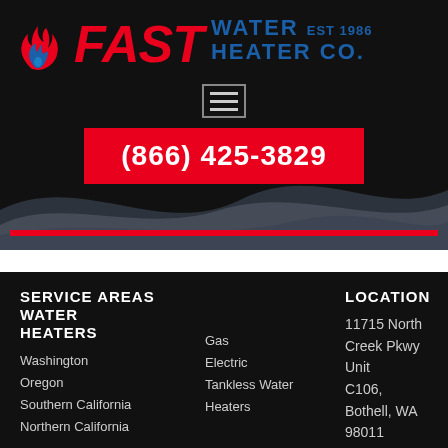[Figure (logo): Fast Water Heater Co. logo with flame icon and company name. Red italic FAST text with arrow, blue WATER HEATER CO. text and EST 1986, with red and blue flame icon.]
(866) 425-3829
SERVICE AREAS WATER HEATERS
LOCATION
Washington
Oregon
Southern California
Northern California
Gas
Electric
Tankless Water Heaters
11715 North Creek Pkwy Unit C106, Bothell, WA 98011
OUR SERVICES